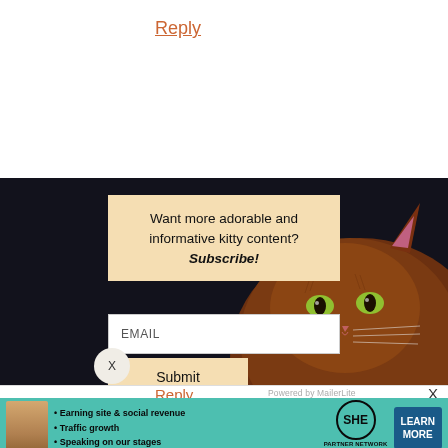Reply
[Figure (screenshot): Newsletter subscription popup with dark background and cat image. Contains 'Want more adorable and informative kitty content? Subscribe!' text, an EMAIL input field, and a Submit button. There is also an X close button.]
Want more adorable and informative kitty content? Subscribe!
EMAIL
Submit
X
Reply
Powered by MailerLite
X
[Figure (infographic): SHE Partner Network advertisement banner with teal background. Shows a woman photo, bullet points about earning site & social revenue, traffic growth, speaking on stages. SHE Partner Network logo with globe icon and LEARN MORE button. BECOME A MEMBER text below.]